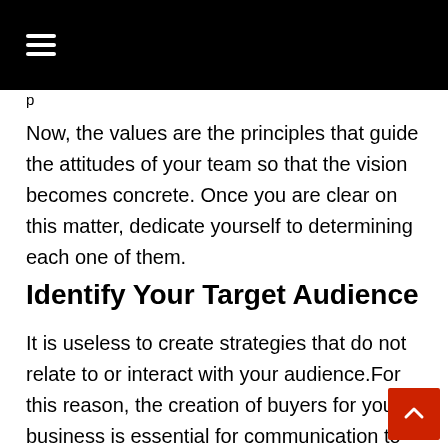≡
p
Now, the values are the principles that guide the attitudes of your team so that the vision becomes concrete. Once you are clear on this matter, dedicate yourself to determining each one of them.
Identify Your Target Audience
It is useless to create strategies that do not relate to or interact with your audience.For this reason, the creation of buyers for your business is essential for communication to be effective. And when we talk about people, it means the